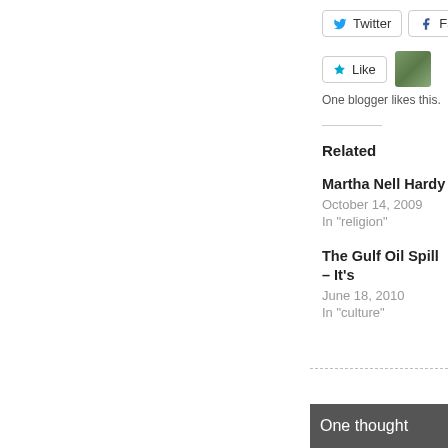[Figure (other): Twitter share button (partially visible)]
[Figure (other): Facebook share button (partially visible)]
[Figure (other): Like button with star icon]
[Figure (photo): Small avatar photo of a blogger]
One blogger likes this.
Related
Martha Nell Hardy
October 14, 2009
In "religion"
The Gulf Oil Spill – It's
June 18, 2010
In "culture"
One thought